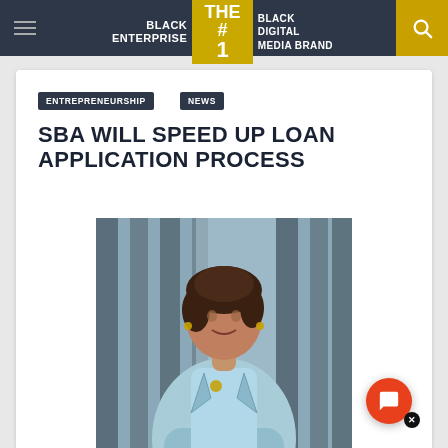BLACK ENTERPRISE THE #1 BLACK DIGITAL MEDIA BRAND
ENTREPRENEURSHIP
NEWS
SBA WILL SPEED UP LOAN APPLICATION PROCESS
[Figure (photo): Woman in light blue blazer with arms crossed, standing in front of a building with vertical architectural elements]